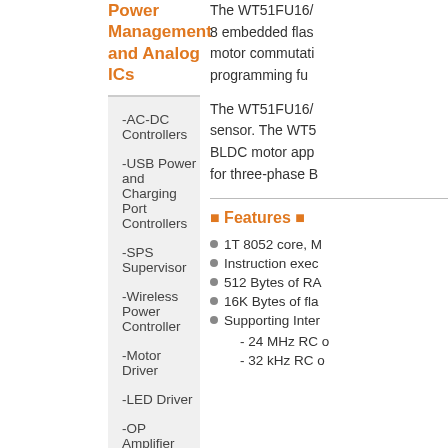Power Management and Analog ICs
-AC-DC Controllers
-USB Power and Charging Port Controllers
-SPS Supervisor
-Wireless Power Controller
-Motor Driver
-LED Driver
-OP Amplifier
Microcontrollers
Distribution Products
The WT51FU16/ 8 embedded flas motor commutati programming fu
The WT51FU16/ sensor. The WT5 BLDC motor app for three-phase B
Features
1T 8052 core, M
Instruction exec
512 Bytes of RA
16K Bytes of fla
Supporting Inter
- 24 MHz RC o
- 32 kHz RC o